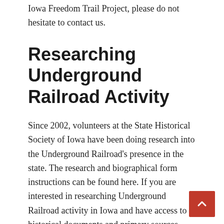Iowa Freedom Trail Project, please do not hesitate to contact us.
Researching Underground Railroad Activity
Since 2002, volunteers at the State Historical Society of Iowa have been doing research into the Underground Railroad’s presence in the state. The research and biographical form instructions can be found here. If you are interested in researching Underground Railroad activity in Iowa and have access to historical documents and primary sources, please review the instructions for submitting